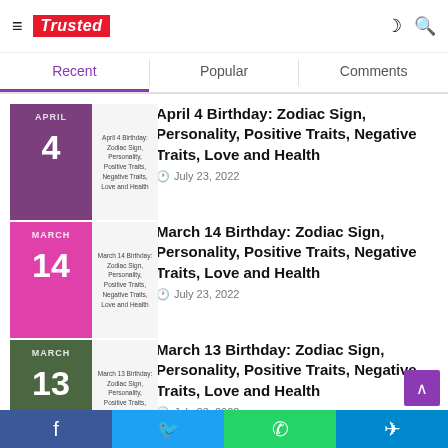Trusted
Recent | Popular | Comments
April 4 Birthday: Zodiac Sign, Personality, Positive Traits, Negative Traits, Love and Health
July 23, 2022
March 14 Birthday: Zodiac Sign, Personality, Positive Traits, Negative Traits, Love and Health
July 23, 2022
March 13 Birthday: Zodiac Sign, Personality, Positive Traits, Negative Traits, Love and Health
July 23, 2022